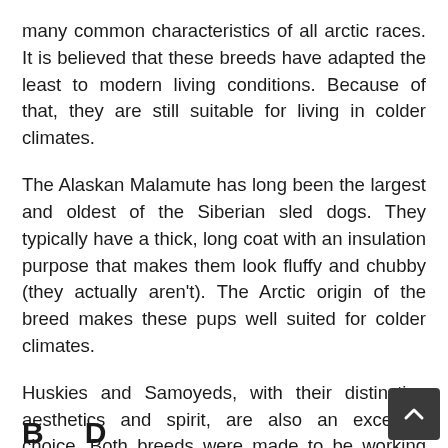many common characteristics of all arctic races. It is believed that these breeds have adapted the least to modern living conditions. Because of that, they are still suitable for living in colder climates.
The Alaskan Malamute has long been the largest and oldest of the Siberian sled dogs. They typically have a thick, long coat with an insulation purpose that makes them look fluffy and chubby (they actually aren't). The Arctic origin of the breed makes these pups well suited for colder climates.
Huskies and Samoyeds, with their distinctive aesthetics and spirit, are also an excellent choice. Both breeds were made to be working dogs, and they retained their characteristic endurance, energy, agility, and playfulness at home. Their long coats and thick hides keep them cool during the summer and warm them up during winter. These dogs can even change their metabolism and use up fat stores, allowing them to stay outside for a long time.